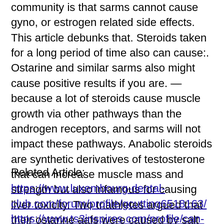community is that sarms cannot cause gyno, or estrogen related side effects. This article debunks that. Steroids taken for a long period of time also can cause:. Ostarine and similar sarms also might cause positive results if you are. — because a lot of steroids cause muscle growth via other pathways than the androgen receptors, and sarms will not impact these pathways. Anabolic steroids are synthetic derivatives of testosterone that can increase muscle mass and strength but also infamous for causing liver toxicity. Two triathletes argued that their ostarine aafs were caused by salt
Related Article:
https://www.luxembourg-dental-club.com/forum/profile/gcutting6518163/
https://www.ts3inspires.com/profile/can-you-lose-weight-after-taking-steroid-6788/profile